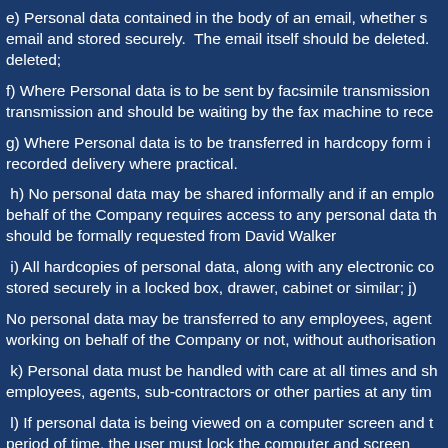e) Personal data contained in the body of an email, whether sent or received, must be copied from the email and stored securely.  The email itself should be deleted.  Unless the email is deleted;
f) Where Personal data is to be sent by facsimile transmission the sender should confirm the transmission and should be waiting by the fax machine to receive it;
g) Where Personal data is to be transferred in hardcopy form it should be passed by recorded delivery where practical.
h) No personal data may be shared informally and if an employee, agent, sub-contractor, or other party working on behalf of the Company requires access to any personal data then such access should be formally requested from David Walker
i) All hardcopies of personal data, along with any electronic copies, should be stored securely in a locked box, drawer, cabinet or similar; j)
No personal data may be transferred to any employees, agents, sub-contractors, or other parties, whether working on behalf of the Company or not, without authorisation
k) Personal data must be handled with care at all times and should not be left unattended or on view to other employees, agents, sub-contractors or other parties at any time;
l) If personal data is being viewed on a computer screen and the computer is not being used for a period of time, the user must lock the computer and screen;